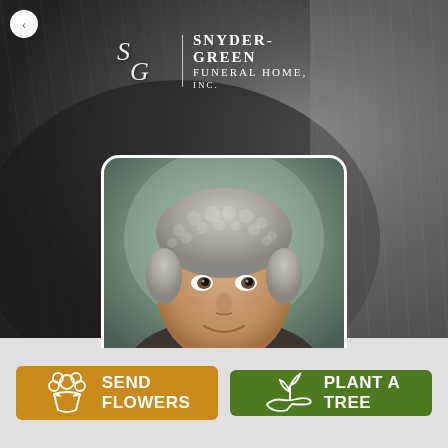[Figure (screenshot): Snyder-Green Funeral Home, Inc. website screenshot showing a gray textured animal fur background with the funeral home logo overlay (cursive S&G monogram with vertical divider and text SNYDER-GREEN FUNERAL HOME, INC.), a portrait photo of an older man with curly gray hair and a smile centered below the logo, and two action buttons at the bottom: an orange 'SEND FLOWERS' button with flower icon and a green 'PLANT A TREE' button with seedling icon.]